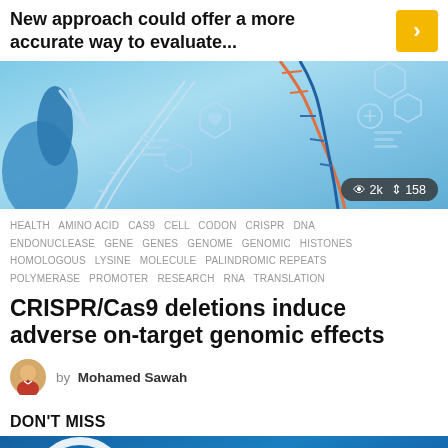New approach could offer a more accurate way to evaluate...
[Figure (illustration): Scientific illustration of DNA strands, CRISPR-Cas9 editing tools, molecular diagrams, hexagonal structures, and laboratory instruments on a blue background. Shows 2k views and 158 shares.]
HEALTH  AMINO ACID  CAS9  CELL  CODON  CRISPR  DNA  ENDONUCLEASE  GENE  GENES  GENOME  GENOMIC  HISTONES  HOMOLOGOUS  LYSINE  MOLECULE  PALINDROMIC REPEATS  POLYMERASE  PROMOTER  RESEARCH  RNA  TRANSLATION
CRISPR/Cas9 deletions induce adverse on-target genomic effects
by Mohamed Sawah
DON'T MISS
[Figure (photo): Partial view of a scientific or medical image on blue background, partially cut off at the bottom of the page.]